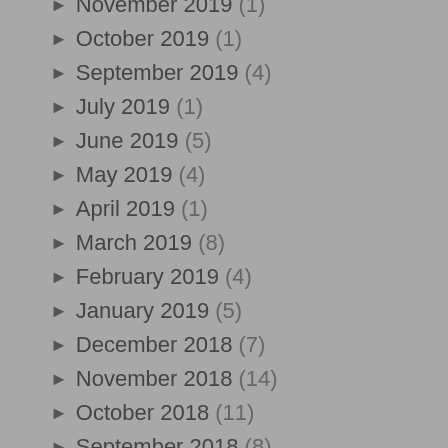November 2019 (1)
October 2019 (1)
September 2019 (4)
July 2019 (1)
June 2019 (5)
May 2019 (4)
April 2019 (1)
March 2019 (8)
February 2019 (4)
January 2019 (5)
December 2018 (7)
November 2018 (14)
October 2018 (11)
September 2018 (8)
August 2018 (14)
July 2018 (8)
June 2018 (5)